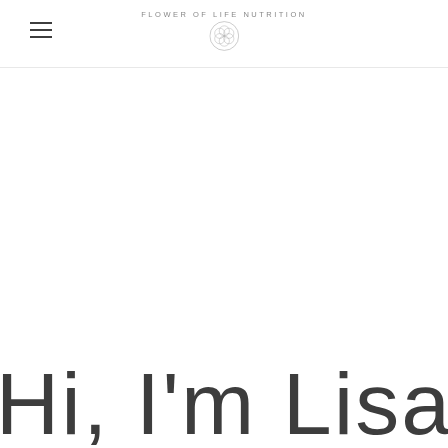FLOWER OF LIFE NUTRITION
Hi, I'm Lisa